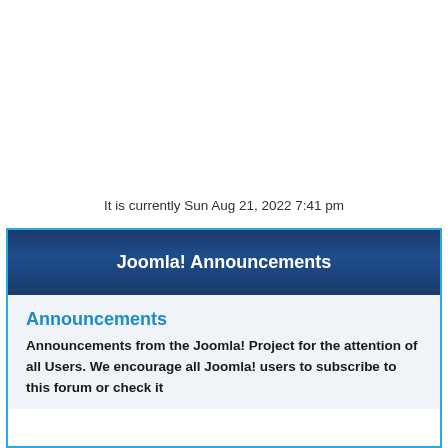It is currently Sun Aug 21, 2022 7:41 pm
Joomla! Announcements
Announcements
Announcements from the Joomla! Project for the attention of all Users. We encourage all Joomla! users to subscribe to this forum or check it